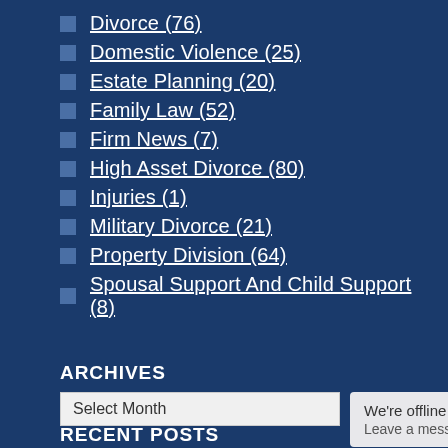Divorce (76)
Domestic Violence (25)
Estate Planning (20)
Family Law (52)
Firm News (7)
High Asset Divorce (80)
Injuries (1)
Military Divorce (21)
Property Division (64)
Spousal Support And Child Support (8)
ARCHIVES
Select Month
We're offline
Leave a message
RECENT POSTS